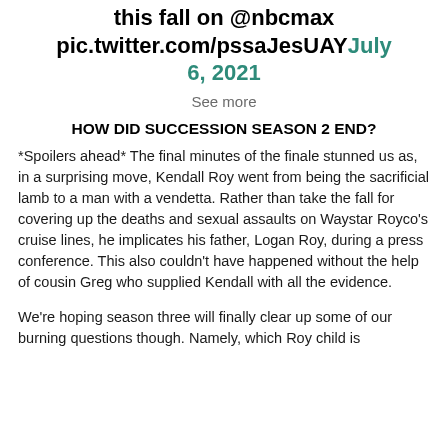this fall on @nbcmax pic.twitter.com/pssaJesUAY July 6, 2021
See more
HOW DID SUCCESSION SEASON 2 END?
*Spoilers ahead* The final minutes of the finale stunned us as, in a surprising move, Kendall Roy went from being the sacrificial lamb to a man with a vendetta. Rather than take the fall for covering up the deaths and sexual assaults on Waystar Royco's cruise lines, he implicates his father, Logan Roy, during a press conference. This also couldn't have happened without the help of cousin Greg who supplied Kendall with all the evidence.
We're hoping season three will finally clear up some of our burning questions though. Namely, which Roy child is